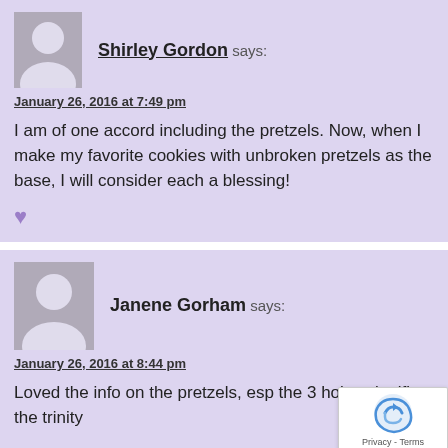[Figure (illustration): Gray avatar placeholder icon for Shirley Gordon]
Shirley Gordon says:
January 26, 2016 at 7:49 pm
I am of one accord including the pretzels. Now, when I make my favorite cookies with unbroken pretzels as the base, I will consider each a blessing!
[Figure (illustration): Gray avatar placeholder icon for Janene Gorham]
Janene Gorham says:
January 26, 2016 at 8:44 pm
Loved the info on the pretzels, esp the 3 holes signif— the trinity